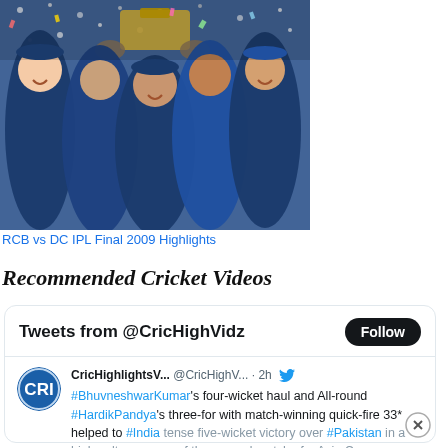[Figure (photo): Cricket team celebrating with trophy, confetti falling, players in blue jerseys holding up a large trophy]
RCB vs DC IPL Final 2009 Highlights
Recommended Cricket Videos
Tweets from @CricHighVidz
CricHighlightsV... @CricHighV... · 2h  #BhuvneshwarKumar's four-wicket haul and All-round #HardikPandya's three-for with match-winning quick-fire 33* helped to #India tense five-wicket victory over #Pakistan in a high-voltage game of the second match of a Asia Cup.